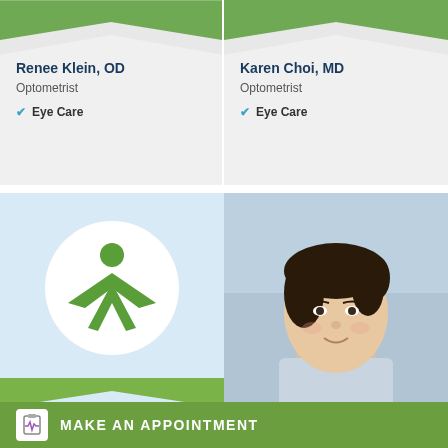Renee Klein, OD
Optometrist
Eye Care
Karen Choi, MD
Optometrist
Eye Care
[Figure (logo): Green person/star icon on white circle, light blue card background with green chevron at bottom]
[Figure (photo): Headshot of an Asian woman with dark hair pulled back, wearing a light blue top, blue-grey background]
MAKE AN APPOINTMENT